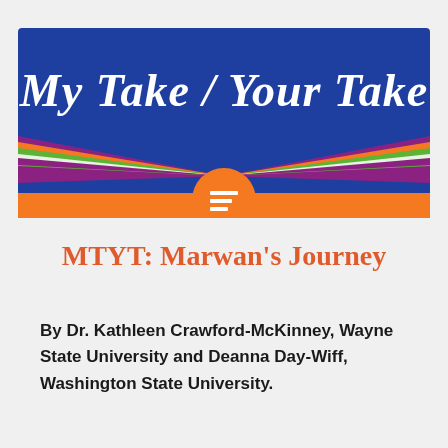[Figure (illustration): My Take / Your Take banner logo with blue background, colorful diagonal stripes (purple, orange, green, white), an orange circle with a text/lines icon centered at bottom, and script-style white title text reading 'My Take / Your Take']
MTYT: Marwan's Journey
By Dr. Kathleen Crawford-McKinney, Wayne State University and Deanna Day-Wiff, Washington State University.